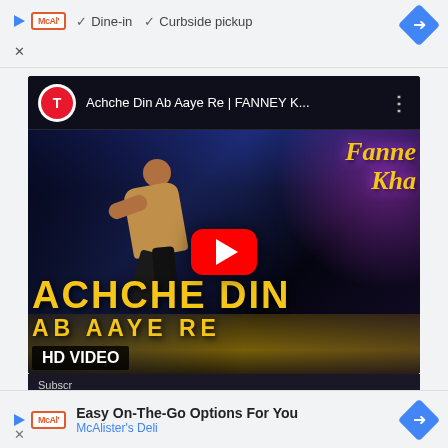[Figure (screenshot): Top advertisement banner for McAlister's Deli showing Dine-in and Curbside pickup options with navigation arrow]
[Figure (screenshot): YouTube video thumbnail for 'Achche Din Ab Aaye Re | FANNEY K...' showing a man leaning against a yellow taxi with bold yellow text overlay and HD VIDEO badge. A red YouTube play button is visible in the center.]
[Figure (screenshot): Bottom advertisement banner for McAlister's Deli showing 'Easy On-The-Go Options For You' text with McAlister's Deli subtitle and navigation arrow]